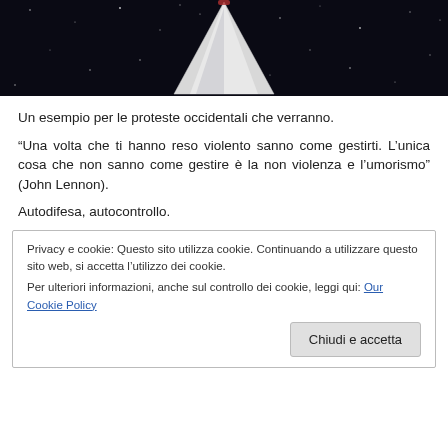[Figure (photo): Photo of a white triangular/rocket-shaped object against a dark starry background]
Un esempio per le proteste occidentali che verranno.
“Una volta che ti hanno reso violento sanno come gestirti. L’unica cosa che non sanno come gestire è la non violenza e l’umorismo” (John Lennon).
Autodifesa, autocontrollo.
Privacy e cookie: Questo sito utilizza cookie. Continuando a utilizzare questo sito web, si accetta l’utilizzo dei cookie.
Per ulteriori informazioni, anche sul controllo dei cookie, leggi qui: Our Cookie Policy
Chiudi e accetta